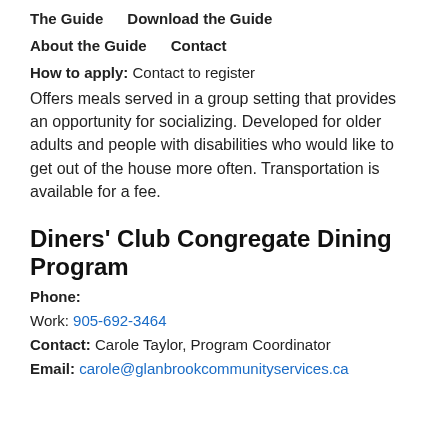The Guide    Download the Guide
About the Guide    Contact
How to apply: Contact to register
Offers meals served in a group setting that provides an opportunity for socializing. Developed for older adults and people with disabilities who would like to get out of the house more often. Transportation is available for a fee.
Diners' Club Congregate Dining Program
Phone:
Work: 905-692-3464
Contact: Carole Taylor, Program Coordinator
Email: carole@glanbrookcommunityservices.ca